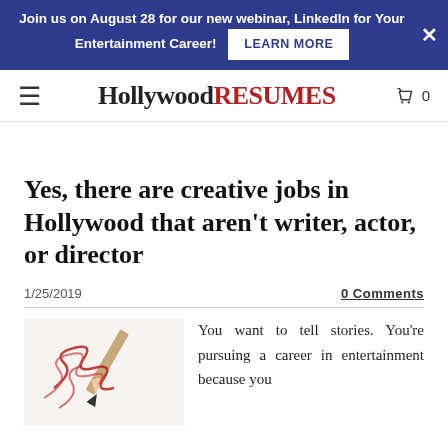Join us on August 28 for our new webinar, LinkedIn for Your Entertainment Career! LEARN MORE
Hollywood RESUMES
Yes, there are creative jobs in Hollywood that aren't writer, actor, or director
1/25/2019
0 Comments
[Figure (photo): A pencil with red spiral curls/shavings on a white background]
You want to tell stories. You're pursuing a career in entertainment because you